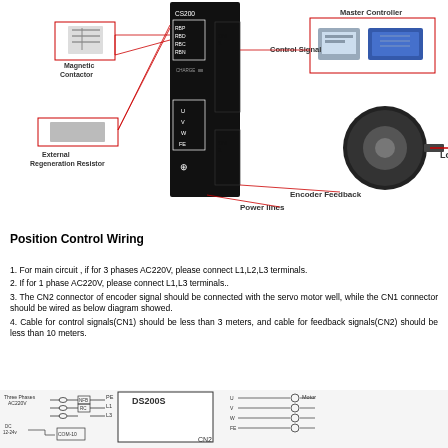[Figure (schematic): Servo drive system wiring schematic showing a central servo drive unit (black box) connected to: Magnetic Contactor (top left), External Regeneration Resistor (middle left), Master Controller (top right), Control Signal connector CN1, Encoder Feedback connector CN2, Power lines at bottom of drive, and a servo motor with Load label on the right side. Text note about built-in resistor on lower left.]
Position Control Wiring
1. For main circuit , if for 3 phases AC220V, please connect L1,L2,L3 terminals.
2. If for 1 phase AC220V, please connect L1,L3 terminals..
3. The CN2 connector of encoder signal should be connected with the servo motor well, while the CN1 connector should be wired as below diagram showed.
4. Cable for control signals(CN1) should be less than 3 meters, and cable for feedback signals(CN2) should be less than 10 meters.
[Figure (schematic): Partial wiring diagram showing DS200S servo drive with Three Phases AC220V input connections (L1, L3 via contactors), PE ground, motor output connections (U, V, W, FE to Motor), DC 12-24V, COM-10, CN2 connector, and partial CN1 connections.]